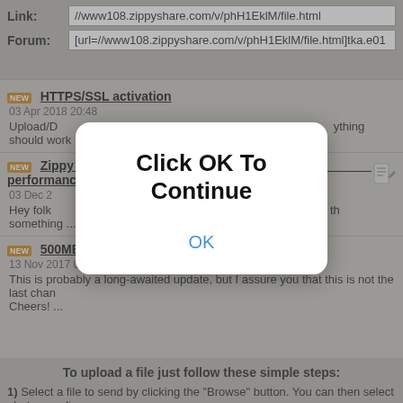Link: //www108.zippyshare.com/v/phH1EklM/file.html
Forum: [url=//www108.zippyshare.com/v/phH1EklM/file.html]tka.e01
HTTPS/SSL activation
03 Apr 2018 20:48
Upload/Download has been moved to the https protocol. Everything should work
Zippyuploader update, Docs and Videos, Official Server, performance boost
03 Dec 2017 21:08
Hey folks, <strong>A quick update:</strong> Today a new version (0.0.16.0) of the something ...
500MB - We just increased the file size limit
13 Nov 2017 00:08
This is probably a long-awaited update, but I assure you that this is not the last chan Cheers! ...
[Figure (screenshot): Modal dialog with text 'Click OK To Continue' and an OK button]
To upload a file just follow these simple steps:
1) Select a file to send by clicking the "Browse" button. You can then select photos, audio documents or anything else you want to send. The maximum file size is 500 MB.